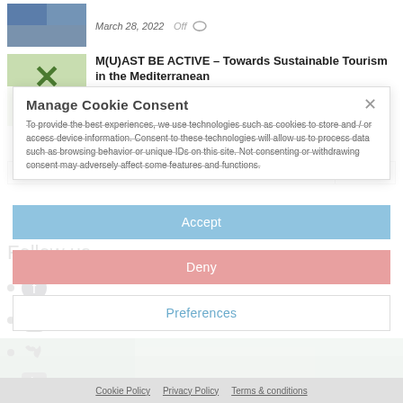March 28, 2022   Off
M(U)AST BE ACTIVE – Towards Sustainable Tourism in the Mediterranean
March 24, 2022   Off
Manage Cookie Consent
To provide the best experiences, we use technologies such as cookies to store and / or access device information. Consent to these technologies will allow us to process data such as browsing behavior or unique IDs on this site. Not consenting or withdrawing consent may adversely affect some features and functions.
SEARCH
Follow us
Accept
Deny
Preferences
Cookie Policy   Privacy Policy   Terms & conditions